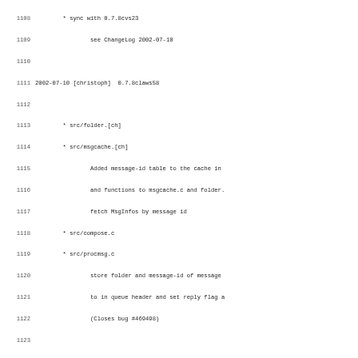Changelog/code listing lines 1108-1139 showing git-style changelog entries for sylpheed email client versions 0.7.8claws58, 0.7.8claws57, 0.7.8claws56